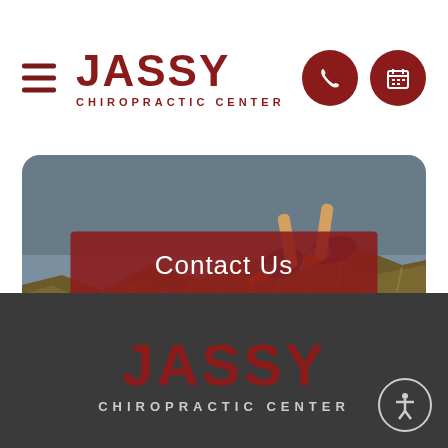JASSY CHIROPRACTIC CENTER
[Figure (photo): Person running on a hillside trail with dry grass, wearing athletic shoes, shot from low angle. A dark red 'Contact Us' banner overlaid in center of image.]
Contact Us
[Figure (logo): Jassy Chiropractic Center logo with large bold dark red text on dark gray footer background, with accessibility icon circle in bottom right.]